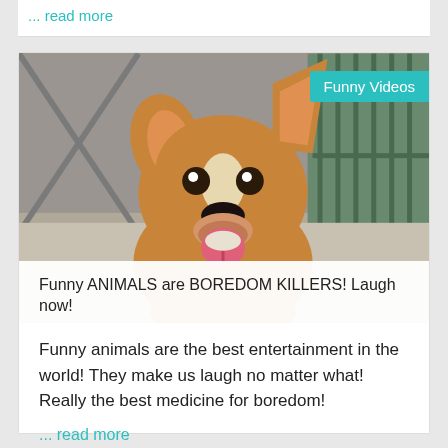... read more
[Figure (photo): Close-up photo of a cute corgi puppy with big ears, looking up at the camera with tongue out, standing on a concrete surface. Background shows a building/gate.]
Funny Videos
Funny ANIMALS are BOREDOM KILLERS! Laugh now!
Funny animals are the best entertainment in the world! They make us laugh no matter what! Really the best medicine for boredom!
... read more